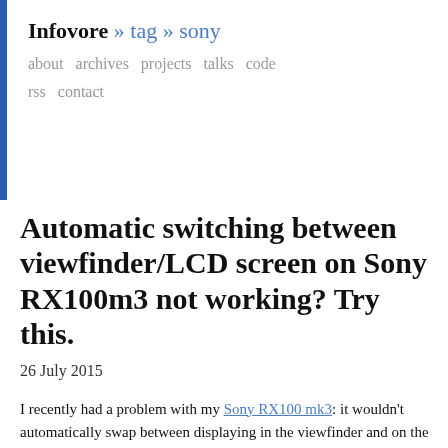Infovore » tag » sony
about archives projects talks code rss contact
Automatic switching between viewfinder/LCD screen on Sony RX100m3 not working? Try this.
26 July 2015
I recently had a problem with my Sony RX100 mk3: it wouldn't automatically swap between displaying in the viewfinder and on the LCD.
If turned on with the viewfinder extended, the viewfinder